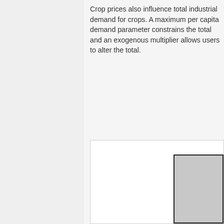Crop prices also influence total industrial demand for crops.  A maximum per capita demand parameter constrains the total and an exogenous multiplier allows users to alter the total.
[Figure (other): Partial view of a figure or diagram, showing a white background frame with a gray rectangle in the lower-right corner, partially cropped.]